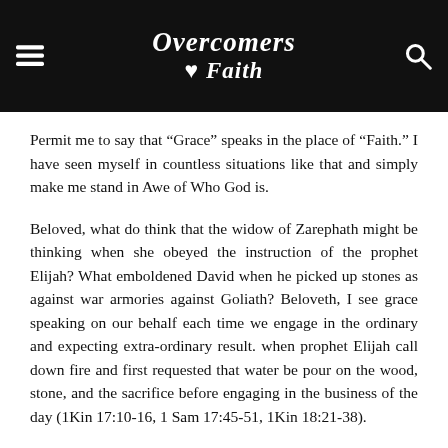Overcomers Faith
Permit me to say that “Grace” speaks in the place of “Faith.” I have seen myself in countless situations like that and simply make me stand in Awe of Who God is.
Beloved, what do think that the widow of Zarephath might be thinking when she obeyed the instruction of the prophet Elijah? What emboldened David when he picked up stones as against war armories against Goliath? Beloveth, I see grace speaking on our behalf each time we engage in the ordinary and expecting extra-ordinary result. when prophet Elijah call down fire and first requested that water be pour on the wood, stone, and the sacrifice before engaging in the business of the day (1Kin 17:10-16, 1 Sam 17:45-51, 1Kin 18:21-38).
When we take bold steps in the Name of God, God shows forth. When you set out to glorify God; He makes you a vessel of honour. When you deny yourself and forebear for the sake of the gospel; God follows your Word with signs and miracles.